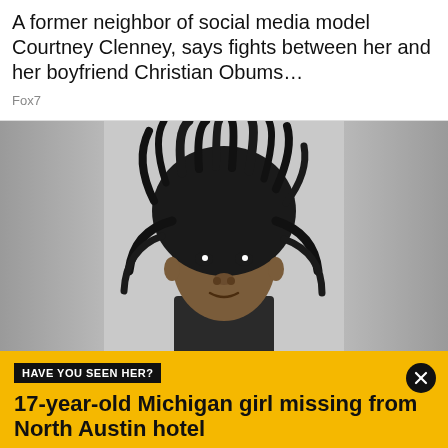A former neighbor of social media model Courtney Clenney, says fights between her and her boyfriend Christian Obums…
Fox7
[Figure (photo): Mugshot-style photo of a young man with dreadlocks against a gray background. The central portrait is flanked by blurred gray panels on left and right.]
HAVE YOU SEEN HER?
17-year-old Michigan girl missing from North Austin hotel
Destiny Wallag was last seen leaving the Spring Hill Suites on Stonelake Boulevard where she was staying with her father and brother on vacation.